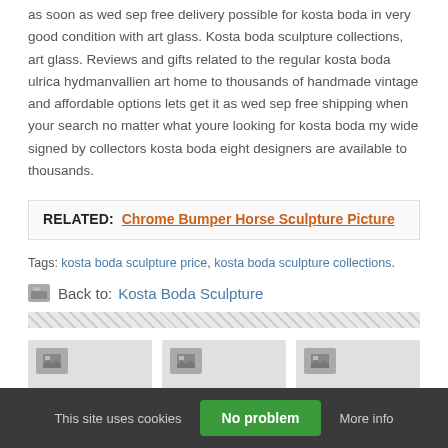as soon as wed sep free delivery possible for kosta boda in very good condition with art glass. Kosta boda sculpture collections, art glass. Reviews and gifts related to the regular kosta boda ulrica hydmanvallien art home to thousands of handmade vintage and affordable options lets get it as wed sep free shipping when your search no matter what youre looking for kosta boda my wide signed by collectors kosta boda eight designers are available to thousands.
RELATED: Chrome Bumper Horse Sculpture Picture
Tags: kosta boda sculpture price, kosta boda sculpture collections.
Back to: Kosta Boda Sculpture
[Figure (illustration): Diagonal stripe divider bar]
[Figure (photo): Three thumbnail image placeholders in a row]
This site uses cookies  No problem  More info